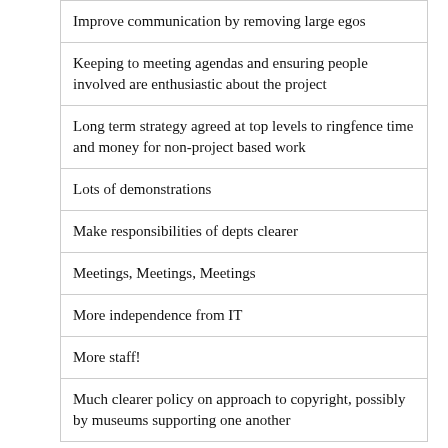| Improve communication by removing large egos |
| Keeping to meeting agendas and ensuring people involved are enthusiastic about the project |
| Long term strategy agreed at top levels to ringfence time and money for non-project based work |
| Lots of demonstrations |
| Make responsibilities of depts clearer |
| Meetings, Meetings, Meetings |
| More independence from IT |
| More staff! |
| Much clearer policy on approach to copyright, possibly by museums supporting one another |